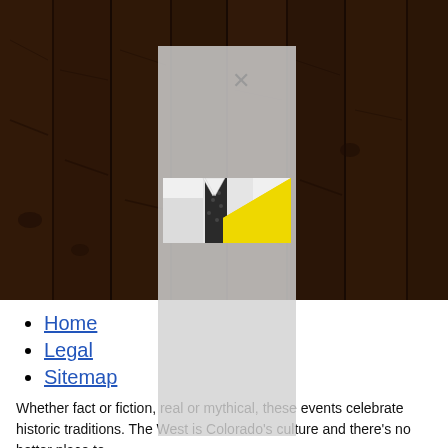[Figure (photo): Dark wood plank background filling the top portion of the page]
[Figure (photo): Semi-transparent light gray modal/popup overlay with an X close button and an inset photo of a person wearing a white shirt with black polka-dot tie and a yellow geometric shape]
Home
Legal
Sitemap
Whether fact or fiction, real or mythical, these events celebrate historic traditions. The West is Colorado’s culture and there’s no better place to